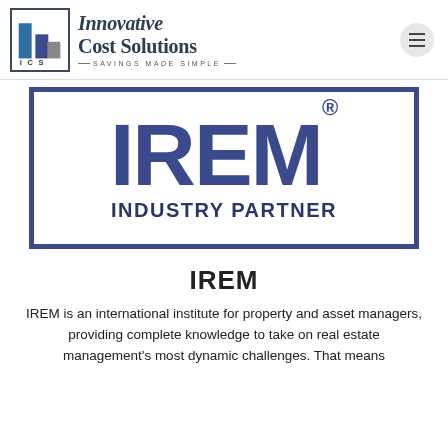[Figure (logo): Innovative Cost Solutions (ICS) logo with building bar chart graphic and tagline SAVINGS MADE SIMPLE]
[Figure (logo): IREM Industry Partner badge — large IREM text with registered trademark symbol and INDUSTRY PARTNER text below, inside a blue border rectangle]
IREM
IREM is an international institute for property and asset managers, providing complete knowledge to take on real estate management's most dynamic challenges. That means knowledge resources for the short-term and the ever-evolving